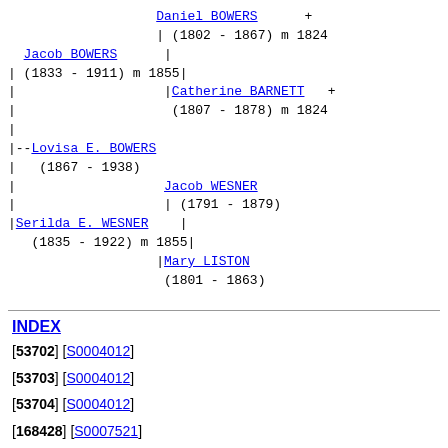[Figure (organizational-chart): Genealogy tree showing Lovisa E. BOWERS (1867-1938) with parents Jacob BOWERS (1833-1911) m 1855 and Serilda E. WESNER (1835-1922) m 1855. Jacob BOWERS parents are Daniel BOWERS (1802-1867) m 1824 and Catherine BARNETT (1807-1878) m 1824. Serilda E. WESNER parents are Jacob WESNER (1791-1879) and Mary LISTON (1801-1863).]
INDEX
[53702] [S0004012]
[53703] [S0004012]
[53704] [S0004012]
[168428] [S0007521]
HOME